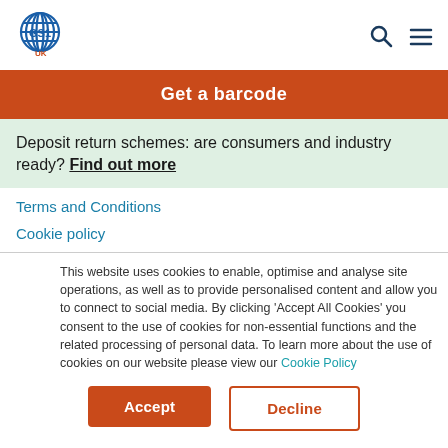GS1 UK logo, search icon, menu icon
Get a barcode
Deposit return schemes: are consumers and industry ready? Find out more
Terms and Conditions
Cookie policy
This website uses cookies to enable, optimise and analyse site operations, as well as to provide personalised content and allow you to connect to social media. By clicking ‘Accept All Cookies’ you consent to the use of cookies for non-essential functions and the related processing of personal data. To learn more about the use of cookies on our website please view our Cookie Policy
Accept
Decline